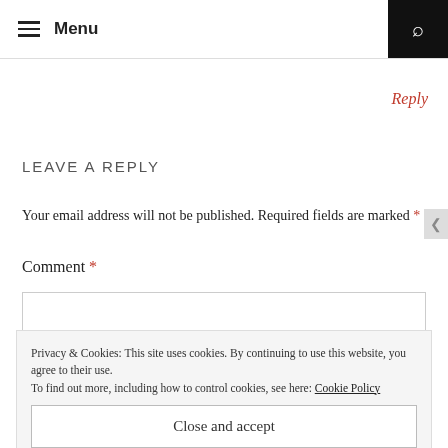Menu
Reply
LEAVE A REPLY
Your email address will not be published. Required fields are marked *
Comment *
Privacy & Cookies: This site uses cookies. By continuing to use this website, you agree to their use. To find out more, including how to control cookies, see here: Cookie Policy
Close and accept